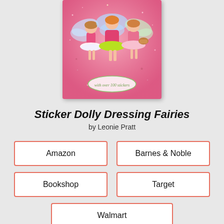[Figure (illustration): Book cover of Sticker Dolly Dressing Fairies showing three fairy characters on a pink glittery background with text 'with over 100 stickers']
Sticker Dolly Dressing Fairies
by Leonie Pratt
Amazon
Barnes & Noble
Bookshop
Target
Walmart